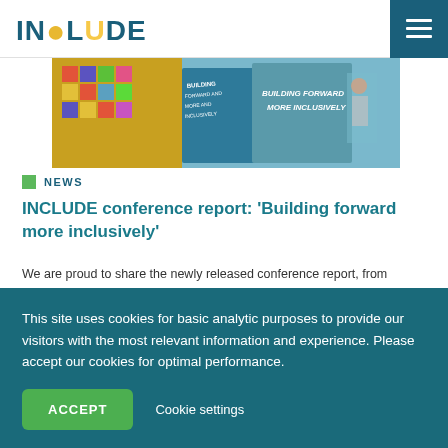INCLUDE
[Figure (photo): Partial view of conference report booklets with text 'Building Forward More Inclusively' overlaid on a teal/blue background with colorful mosaic pattern]
NEWS
INCLUDE conference report: 'Building forward more inclusively'
We are proud to share the newly released conference report, from INCLUDE's online event 'Building...
Published on 30 August 2021
This site uses cookies for basic analytic purposes to provide our visitors with the most relevant information and experience. Please accept our cookies for optimal performance.
ACCEPT   Cookie settings